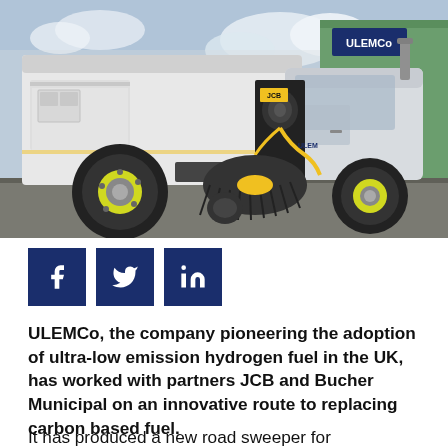[Figure (photo): A large white road sweeper truck with yellow wheel accents and cleaning brushes at the front, parked outside a warehouse facility with a ULEMCo sign visible on the building in the background.]
[Figure (infographic): Three dark navy blue social media share buttons in a row: Facebook (f icon), Twitter (bird icon), LinkedIn (in icon).]
ULEMCo, the company pioneering the adoption of ultra-low emission hydrogen fuel in the UK, has worked with partners JCB and Bucher Municipal on an innovative route to replacing carbon based fuel.
It has produced a new road sweeper for